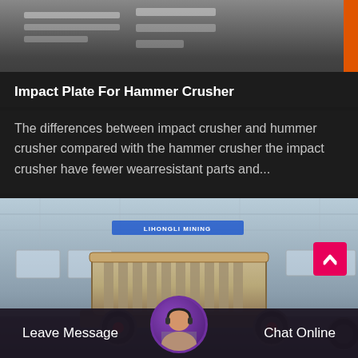[Figure (photo): Top portion of an industrial machinery/warehouse photo showing shelving or equipment in a factory setting with an orange vertical bar on the right edge]
Impact Plate For Hammer Crusher
The differences between impact crusher and hummer crusher compared with the hammer crusher the impact crusher have fewer wearresistant parts and...
[Figure (photo): Large industrial impact/hammer crusher machine photographed inside a factory warehouse with steel truss roof, industrial lighting, and factory signage in the background]
Leave Message
Chat Online